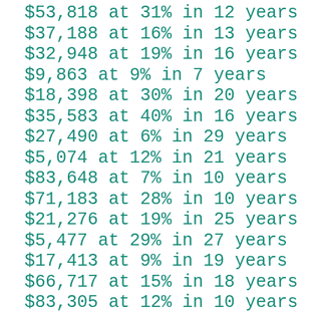$53,818 at 31% in 12 years
$37,188 at 16% in 13 years
$32,948 at 19% in 16 years
$9,863 at 9% in 7 years
$18,398 at 30% in 20 years
$35,583 at 40% in 16 years
$27,490 at 6% in 29 years
$5,074 at 12% in 21 years
$83,648 at 7% in 10 years
$71,183 at 28% in 10 years
$21,276 at 19% in 25 years
$5,477 at 29% in 27 years
$17,413 at 9% in 19 years
$66,717 at 15% in 18 years
$83,305 at 12% in 10 years
$47,324 at 20% in 6 years
$1,923 at 11% in 17 years
$43,028 at 16% in 10 years